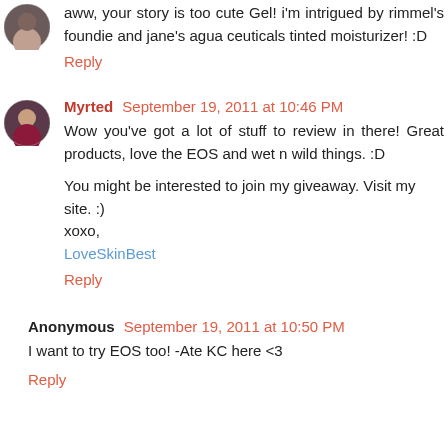[Figure (photo): Small circular avatar photo of a user (dark hair, appears to be a woman)]
aww, your story is too cute Gel! i'm intrigued by rimmel's foundie and jane's agua ceuticals tinted moisturizer! :D
Reply
[Figure (photo): Small circular avatar photo of Myrted (woman with dark hair, reddish top)]
Myrted September 19, 2011 at 10:46 PM
Wow you've got a lot of stuff to review in there! Great products, love the EOS and wet n wild things. :D
You might be interested to join my giveaway. Visit my site. :)
xoxo,
LoveSkinBest
Reply
Anonymous September 19, 2011 at 10:50 PM
I want to try EOS too! -Ate KC here <3
Reply